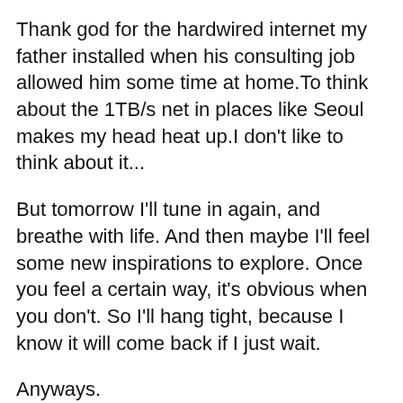Thank god for the hardwired internet my father installed when his consulting job allowed him some time at home.To think about the 1TB/s net in places like Seoul makes my head heat up.I don't like to think about it...
But tomorrow I'll tune in again, and breathe with life. And then maybe I'll feel some new inspirations to explore. Once you feel a certain way, it's obvious when you don't. So I'll hang tight, because I know it will come back if I just wait.
Anyways.
Signing off now.